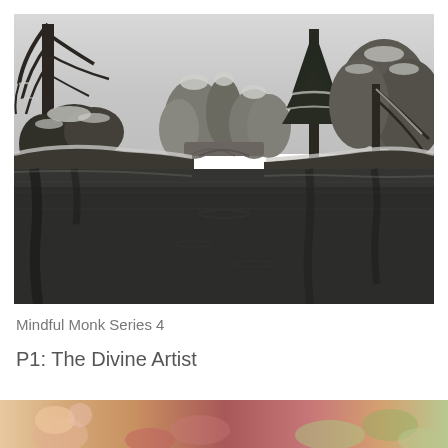[Figure (photo): Winter landscape with snow-dusted trees reflected in a still dark river or lake, with a stone bridge visible in the background. Black and white / desaturated tones.]
Mindful Monk Series 4
P1: The Divine Artist
[Figure (photo): Partial view of a colourful photo at the bottom of the page, showing flowers or plants.]